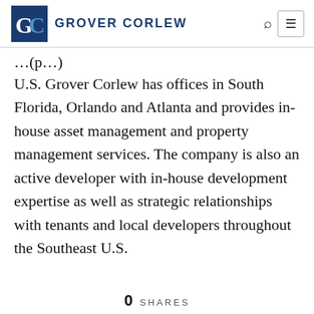GC GROVER CORLEW
U.S. Grover Corlew has offices in South Florida, Orlando and Atlanta and provides in-house asset management and property management services. The company is also an active developer with in-house development expertise as well as strategic relationships with tenants and local developers throughout the Southeast U.S.
0 SHARES